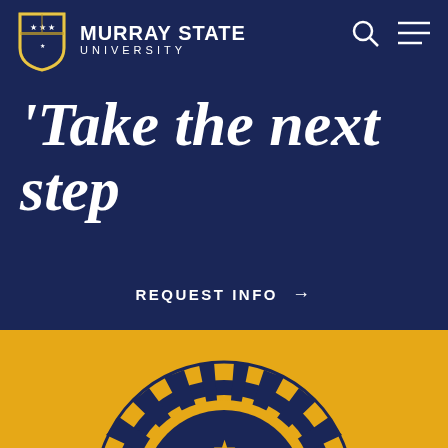Murray State University
Take the next step
REQUEST INFO →
VISIT CAMPUS →
APPLY TODAY →
[Figure (logo): Murray State University seal/emblem in gold and navy, partially visible at bottom of page]